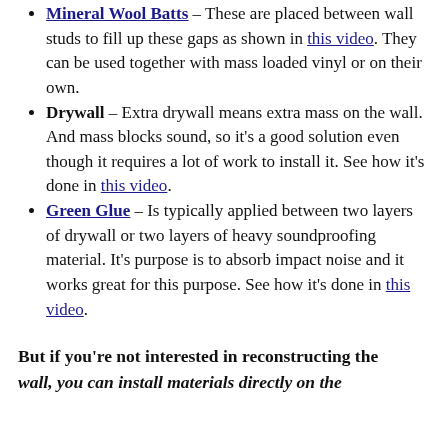Mineral Wool Batts – These are placed between wall studs to fill up these gaps as shown in this video. They can be used together with mass loaded vinyl or on their own.
Drywall – Extra drywall means extra mass on the wall. And mass blocks sound, so it's a good solution even though it requires a lot of work to install it. See how it's done in this video.
Green Glue – Is typically applied between two layers of drywall or two layers of heavy soundproofing material. It's purpose is to absorb impact noise and it works great for this purpose. See how it's done in this video.
But if you're not interested in reconstructing the wall, you can install materials directly on the